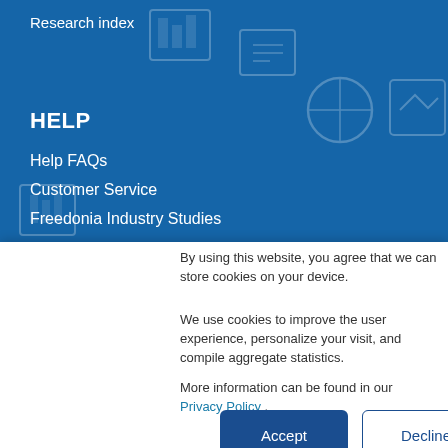Research index
HELP
Help FAQs
Customer Service
Freedonia Industry Studies
CONTACT US
By using this website, you agree that we can store cookies on your device.
We use cookies to improve the user experience, personalize your visit, and compile aggregate statistics.
More information can be found in our Privacy Policy .